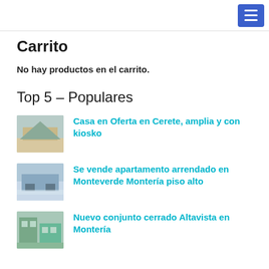Carrito
No hay productos en el carrito.
Top 5 – Populares
[Figure (photo): Thumbnail of Casa en Oferta en Cerete house with kiosko]
Casa en Oferta en Cerete, amplia y con kiosko
[Figure (photo): Thumbnail of apartment in Monteverde Montería]
Se vende apartamento arrendado en Monteverde Montería piso alto
[Figure (photo): Thumbnail of Nuevo conjunto cerrado Altavista en Montería]
Nuevo conjunto cerrado Altavista en Montería